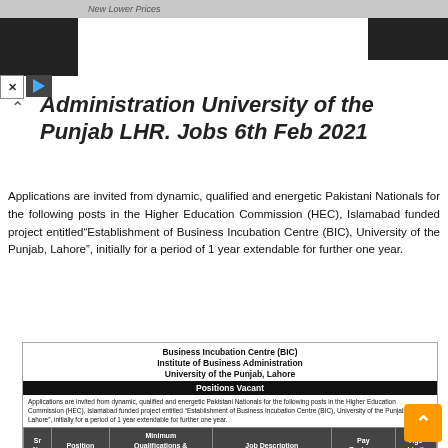New Lower Prices
Administration University of the Punjab LHR. Jobs 6th Feb 2021
Applications are invited from dynamic, qualified and energetic Pakistani Nationals for the following posts in the Higher Education Commission (HEC), Islamabad funded project entitled“Establishment of Business Incubation Centre (BIC), University of the Punjab, Lahore”, initially for a period of 1 year extendable for further one year.
| Sr No | Position | Minimum Qualifications & Experience | Job Description | Pay Package | Age Limit |
| --- | --- | --- | --- | --- | --- |
| 1 | Manager (BIC) | MBA from HEC recognized institutes/universities with minimum 10 years’ experience in the relevant field. | The ideal candidate will have three attributes i.e. i) Proven track record of entrepreneurship either as a start-up entrepreneur, or working in an environment | Rs.125,000 per month | 50 years |